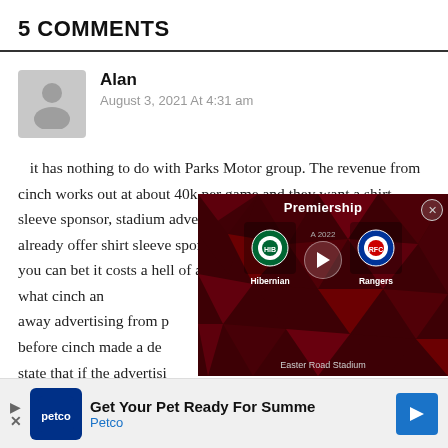5 COMMENTS
Alan
August 3, 2021 At 4:31 am
it has nothing to do with Parks Motor group. The revenue from cinch works out at about 40k per game and they want a shirt sleeve sponsor, stadium adverts and a motm award. Rangers already offer shirt sleeve sponsors and adverts in the stadium and you can bet it costs a hell of a lot more then 40k! so by doing what cinch and away advertising from p before cinch made a de state that if the advertisi some
[Figure (screenshot): Video player overlay showing a Premiership match between Hibernian and Rangers at Easter Road Stadium, dated 2022, with a play button in the center.]
[Figure (infographic): Petco advertisement banner: 'Get Your Pet Ready For Summe' / 'Petco' with Petco logo and blue arrow button.]